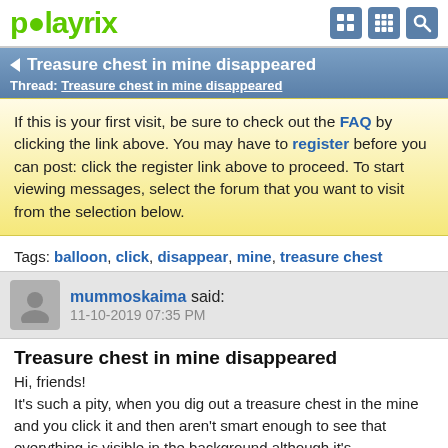playrix
Treasure chest in mine disappeared
Thread: Treasure chest in mine disappeared
If this is your first visit, be sure to check out the FAQ by clicking the link above. You may have to register before you can post: click the register link above to proceed. To start viewing messages, select the forum that you want to visit from the selection below.
Tags: balloon, click, disappear, mine, treasure chest
mummoskaima said:
11-10-2019 07:35 PM
Treasure chest in mine disappeared
Hi, friends!
It's such a pity, when you dig out a treasure chest in the mine and you click it and then aren't smart enough to see that everything is visible in the background although it's